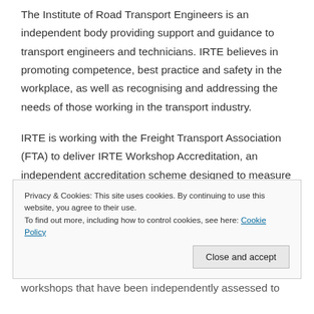The Institute of Road Transport Engineers is an independent body providing support and guidance to transport engineers and technicians. IRTE believes in promoting competence, best practice and safety in the workplace, as well as recognising and addressing the needs of those working in the transport industry.
IRTE is working with the Freight Transport Association (FTA) to deliver IRTE Workshop Accreditation, an independent accreditation scheme designed to measure the procedures of independent workshops against the...
Privacy & Cookies: This site uses cookies. By continuing to use this website, you agree to their use. To find out more, including how to control cookies, see here: Cookie Policy
workshops that have been independently assessed to